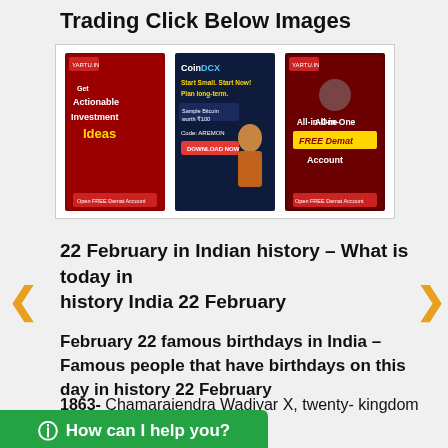Trading Click Below Images
[Figure (illustration): Three advertisement banners side by side: 1) Red banner - 'Get Actionable Investment Ideas' with 'Open FREE Demat Account'; 2) Dark blue banner - CoinDCX 'Start Small. Start Now! Plan long-term. Sample Bitcoin worth ₹100. Code: AREMON. Download Now'; 3) Dark red banner - 'All-in-One FREE Demat Account. Open FREE Demat Account']
22 February in Indian history – What is today in history India 22 February
February 22 famous birthdays in India – Famous people that have birthdays on this day in history 22 February
1863- Chamarajendra Wadiyar X, twenty- kingdom of Mysore.
1892- Indulal Yagnik, Indian